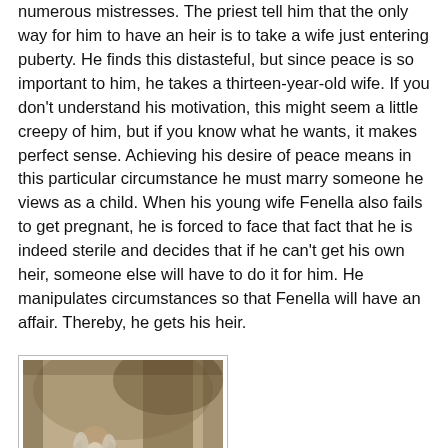numerous mistresses. The priest tell him that the only way for him to have an heir is to take a wife just entering puberty. He finds this distasteful, but since peace is so important to him, he takes a thirteen-year-old wife. If you don't understand his motivation, this might seem a little creepy of him, but if you know what he wants, it makes perfect sense. Achieving his desire of peace means in this particular circumstance he must marry someone he views as a child. When his young wife Fenella also fails to get pregnant, he is forced to face that fact that he is indeed sterile and decides that if he can't get his own heir, someone else will have to do it for him. He manipulates circumstances so that Fenella will have an affair. Thereby, he gets his heir.
[Figure (illustration): A vintage engraving-style illustration of an elderly bearded man and a young woman reclining together under a large tree, rendered in sepia/grey tones.]
However, this complicates his life in ways that he hadn't anticipated. Solar, like many characters, finds himself wanting more than one thing. Before